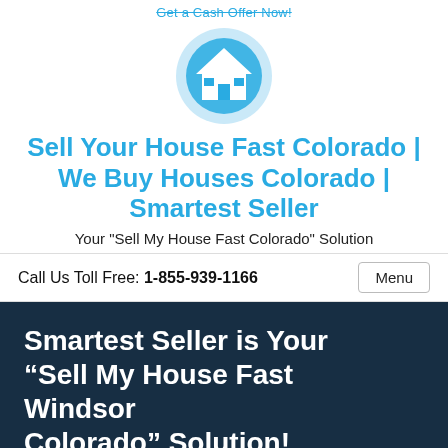Get a Cash Offer Now!
[Figure (logo): Blue circular logo with white house icon]
Sell Your House Fast Colorado | We Buy Houses Colorado | Smartest Seller
Your "Sell My House Fast Colorado" Solution
Call Us Toll Free: 1-855-939-1166
Menu
Smartest Seller is Your “Sell My House Fast Windsor Colorado” Solution! We Buy Houses Wi…